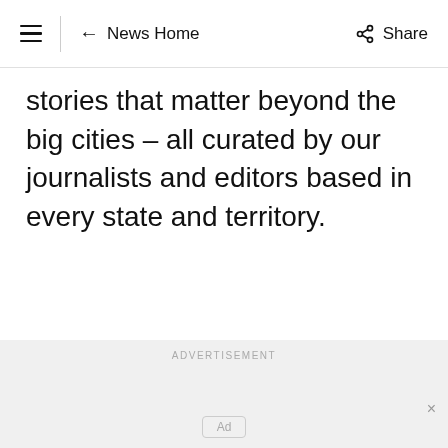≡ | ← News Home   Share
stories that matter beyond the big cities – all curated by our journalists and editors based in every state and territory.
ADVERTISEMENT
[Figure (other): Advertisement placeholder with 'Ad' label box in a light grey area]
[Figure (other): Second advertisement placeholder with 'Ad' label box, with a close (×) button in top right]